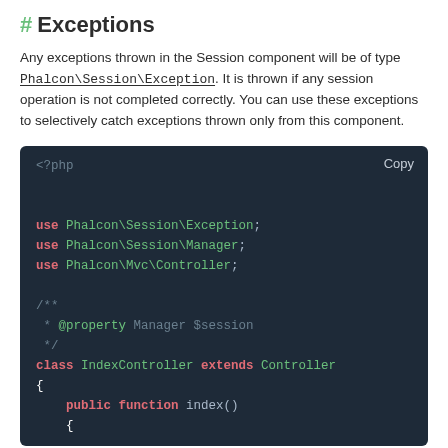# Exceptions
Any exceptions thrown in the Session component will be of type Phalcon\Session\Exception. It is thrown if any session operation is not completed correctly. You can use these exceptions to selectively catch exceptions thrown only from this component.
[Figure (screenshot): PHP code block showing use statements for Phalcon\Session\Exception, Phalcon\Session\Manager, Phalcon\Mvc\Controller, a PHPDoc comment with @property Manager $session, a class IndexController extends Controller with public function index() opening brace]